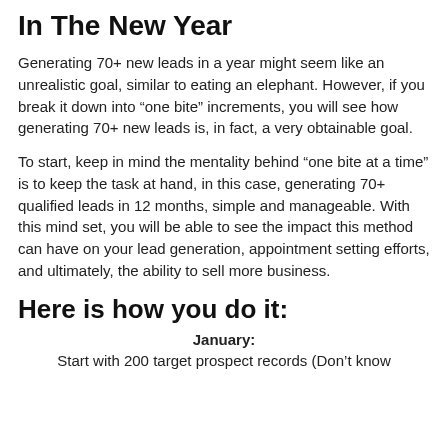In The New Year
Generating 70+ new leads in a year might seem like an unrealistic goal, similar to eating an elephant. However, if you break it down into “one bite” increments, you will see how generating 70+ new leads is, in fact, a very obtainable goal.
To start, keep in mind the mentality behind “one bite at a time” is to keep the task at hand, in this case, generating 70+ qualified leads in 12 months, simple and manageable. With this mind set, you will be able to see the impact this method can have on your lead generation, appointment setting efforts, and ultimately, the ability to sell more business.
Here is how you do it:
January:
Start with 200 target prospect records (Don’t know